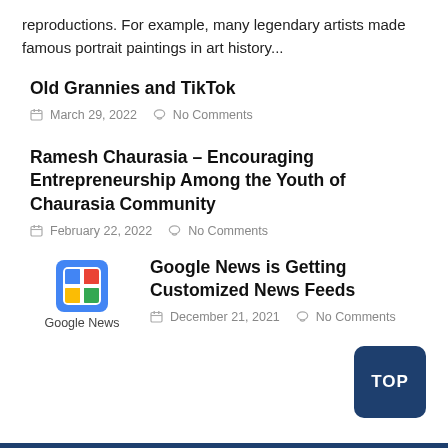reproductions. For example, many legendary artists made famous portrait paintings in art history...
Old Grannies and TikTok
March 29, 2022   No Comments
Ramesh Chaurasia – Encouraging Entrepreneurship Among the Youth of Chaurasia Community
February 22, 2022   No Comments
[Figure (logo): Google News logo icon with Google News label below]
Google News is Getting Customized News Feeds
December 21, 2021   No Comments